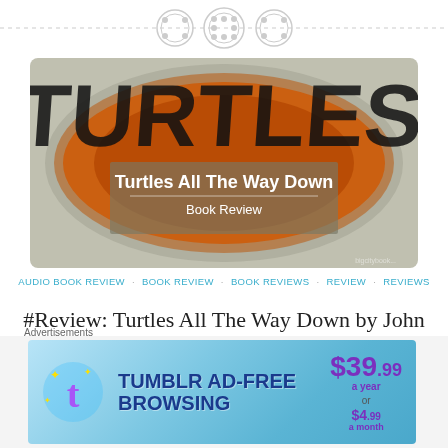[Figure (illustration): Decorative divider with three button/circle icons on a dashed horizontal line]
[Figure (illustration): Book cover graphic for 'Turtles All The Way Down' with orange and grey turtle shell design and text overlay reading 'Turtles All The Way Down — Book Review']
AUDIO BOOK REVIEW · BOOK REVIEW · BOOK REVIEWS · REVIEW · REVIEWS
#Review: Turtles All The Way Down by John Green
December 21, 2017    Maria Casacalenda (Big City Bookworm)    5 Comments
Turtles All The Way Down Author: John Green Publisher: Dutton Books for Young Readers Genre/Themes/Demo: YA, Contemporary, Mental Health
Advertisements
[Figure (screenshot): Tumblr Ad-Free Browsing advertisement banner: $39.99 a year or $4.99 a month]